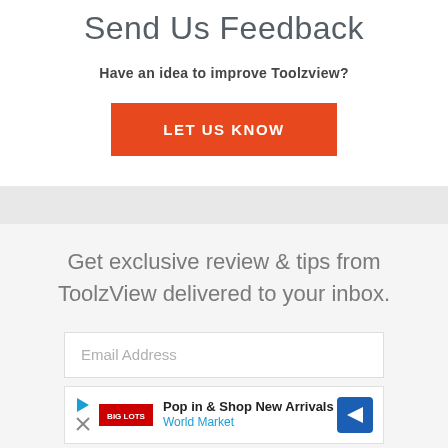Send Us Feedback
Have an idea to improve Toolzview?
LET US KNOW
Get exclusive review & tips from ToolzView delivered to your inbox.
Email Address
Pop in & Shop New Arrivals
World Market